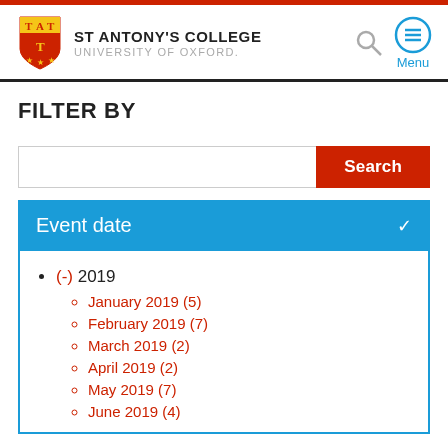ST ANTONY'S COLLEGE UNIVERSITY OF OXFORD.
FILTER BY
Search
Event date
(-) 2019
January 2019 (5)
February 2019 (7)
March 2019 (2)
April 2019 (2)
May 2019 (7)
June 2019 (4)